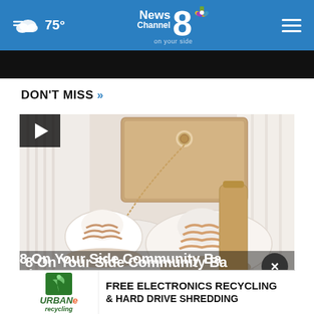75° News Channel 8 on your side
DON'T MISS »
[Figure (photo): Baby white sneakers with tan laces and a kraft paper price tag, surrounded by white fabric and wooden items]
8 On Your Side Community Ba... Sho...
Local News  •  4 days ago